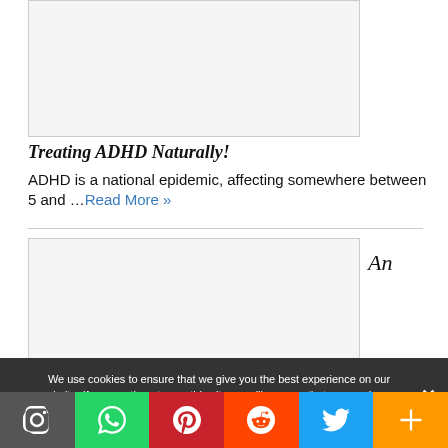[Figure (photo): Image placeholder area for article about Treating ADHD Naturally]
Treating ADHD Naturally!
ADHD is a national epidemic, affecting somewhere between 5 and …Read More »
[Figure (photo): Second article image placeholder, with partial text 'An']
We use cookies to ensure that we give you the best experience on our website. If you continue to use this site we will assume that you are happy with it.